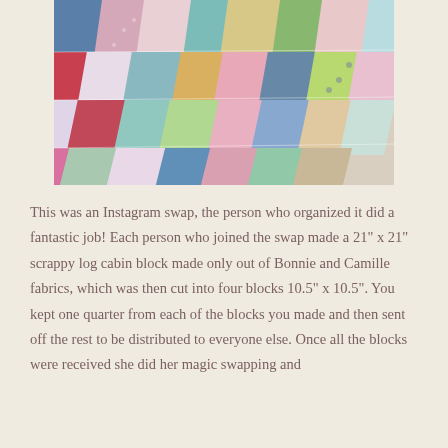[Figure (photo): A colorful patchwork quilt laid out on a flat surface, showing scrappy log cabin blocks made from Bonnie and Camille fabrics in red, pink, teal, navy, green, and cream patterns.]
This was an Instagram swap, the person who organized it did a fantastic job!  Each person who joined the swap made a 21" x 21" scrappy log cabin block made only out of Bonnie and Camille fabrics, which was then cut into four blocks 10.5" x 10.5".  You kept one quarter from each of the blocks you made and then sent off the rest to be distributed to everyone else.  Once all the blocks were received she did her magic swapping and